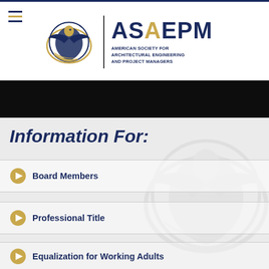[Figure (logo): ASAEPM logo with eagle emblem and full name: American Society for Architectural Engineering and Project Managers]
Information For:
Board Members
Professional Title
Equalization for Working Adults